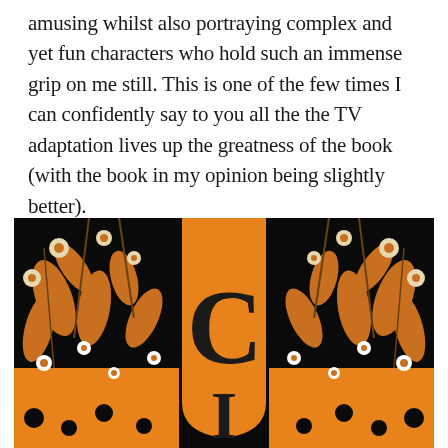amusing whilst also portraying complex and yet fun characters who hold such an immense grip on me still. This is one of the few times I can confidently say to you all the the TV adaptation lives up the greatness of the book (with the book in my opinion being slightly better).
[Figure (illustration): Book cover image with orange and black floral pattern background, featuring a large decorative letter C and letter I in the center on an orange arch shape, surrounded by intricate botanical/floral designs in orange, black, and cream/white on a dark background.]